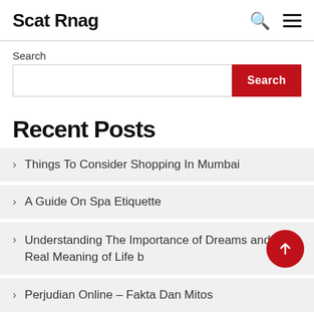Scat Rnag
Search
Recent Posts
> Things To Consider Shopping In Mumbai
> A Guide On Spa Etiquette
> Understanding The Importance of Dreams and The Real Meaning of Life b
> Perjudian Online – Fakta Dan Mitos